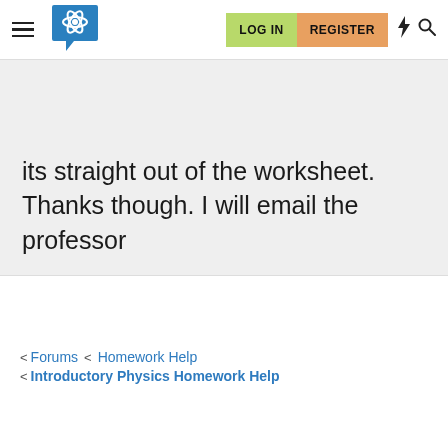LOG IN  REGISTER
its straight out of the worksheet. Thanks though. I will email the professor
Forums  <  Homework Help  <  Introductory Physics Homework Help